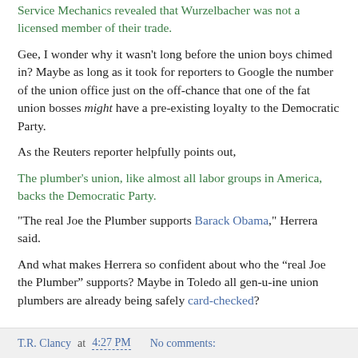Service Mechanics revealed that Wurzelbacher was not a licensed member of their trade.
Gee, I wonder why it wasn't long before the union boys chimed in? Maybe as long as it took for reporters to Google the number of the union office just on the off-chance that one of the fat union bosses might have a pre-existing loyalty to the Democratic Party.
As the Reuters reporter helpfully points out,
The plumber's union, like almost all labor groups in America, backs the Democratic Party.
"The real Joe the Plumber supports Barack Obama," Herrera said.
And what makes Herrera so confident about who the “real Joe the Plumber” supports? Maybe in Toledo all gen-u-ine union plumbers are already being safely card-checked?
T.R. Clancy at 4:27 PM   No comments: